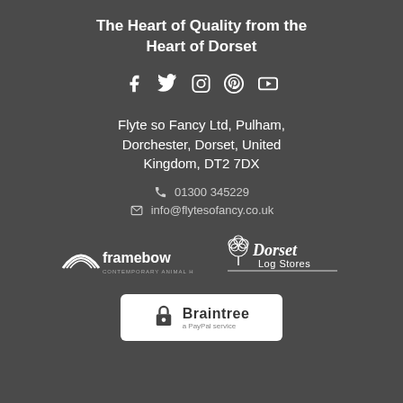The Heart of Quality from the Heart of Dorset
[Figure (infographic): Social media icons: Facebook, Twitter, Instagram, Pinterest, YouTube]
Flyte so Fancy Ltd, Pulham, Dorchester, Dorset, United Kingdom, DT2 7DX
01300 345229
info@flytesofancy.co.uk
[Figure (logo): Framebow Contemporary Animal Housing logo]
[Figure (logo): Dorset Log Stores logo]
[Figure (logo): Braintree (a PayPal service) payment logo in white box]